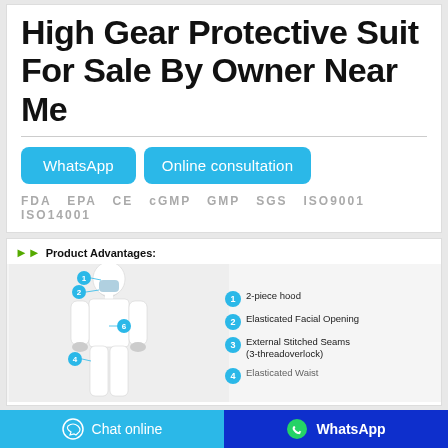High Gear Protective Suit For Sale By Owner Near Me
WhatsApp
Online consultation
FDA  EPA  CE  cGMP  GMP  SGS  ISO9001  ISO14001
[Figure (infographic): Product Advantages diagram showing a person in a white protective suit with numbered callouts: 1-2-piece hood, 2-Elasticated Facial Opening, 3-External Stitched Seams (3-threadoverlock), 4-Elasticated Waist (partially visible)]
Chat online  |  WhatsApp